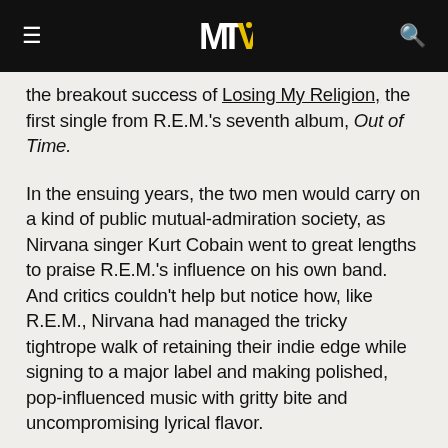MTV [logo]
the breakout success of Losing My Religion, the first single from R.E.M.'s seventh album, Out of Time.
In the ensuing years, the two men would carry on a kind of public mutual-admiration society, as Nirvana singer Kurt Cobain went to great lengths to praise R.E.M.'s influence on his own band. And critics couldn't help but notice how, like R.E.M., Nirvana had managed the tricky tightrope walk of retaining their indie edge while signing to a major label and making polished, pop-influenced music with gritty bite and uncompromising lyrical flavor.
Stipe seemed to gladly take on the role of mentor, perhaps seeing in Cobain's adoration tinges of the same relationship he had with his idol, punk godmother Patti